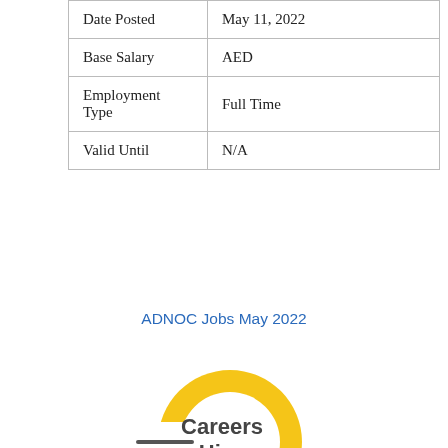| Date Posted | May 11, 2022 |
| Base Salary | AED |
| Employment Type | Full Time |
| Valid Until | N/A |
ADNOC Jobs May 2022
[Figure (logo): Careers Hive logo — a yellow ring open on the left side with a horizontal line extending left, and the text 'Careers Hive' in dark gray inside the ring]